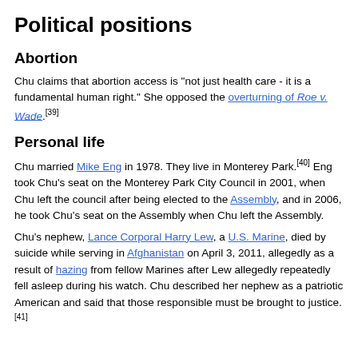Political positions
Abortion
Chu claims that abortion access is "not just health care - it is a fundamental human right." She opposed the overturning of Roe v. Wade.[39]
Personal life
Chu married Mike Eng in 1978. They live in Monterey Park.[40] Eng took Chu's seat on the Monterey Park City Council in 2001, when Chu left the council after being elected to the Assembly, and in 2006, he took Chu's seat on the Assembly when Chu left the Assembly.
Chu's nephew, Lance Corporal Harry Lew, a U.S. Marine, died by suicide while serving in Afghanistan on April 3, 2011, allegedly as a result of hazing from fellow Marines after Lew allegedly repeatedly fell asleep during his watch. Chu described her nephew as a patriotic American and said that those responsible must be brought to justice.[41]